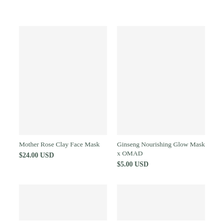[Figure (photo): Product image placeholder for Mother Rose Clay Face Mask - light gray square]
[Figure (photo): Product image placeholder for Ginseng Nourishing Glow Mask x OMAD - light gray square]
Mother Rose Clay Face Mask
$24.00 USD
Ginseng Nourishing Glow Mask x OMAD
$5.00 USD
[Figure (photo): Product image placeholder bottom left - light gray rectangle]
[Figure (photo): Product image placeholder bottom right - light gray rectangle]